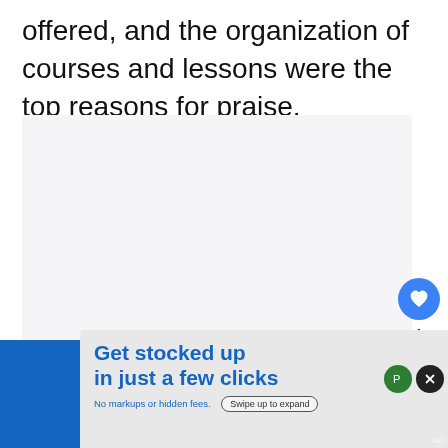offered, and the organization of courses and lessons were the top reasons for praise.
[Figure (screenshot): Light gray content area placeholder with three dots indicating a carousel or loading state, with a like button (heart icon, blue circle), count of 1, and share button on the right side]
[Figure (infographic): Advertisement banner: 'Get stocked up in just a few clicks' with subtitle 'No markups or hidden fees.' and 'Swipe up to expand' button, on a blue and light gray background with close and P buttons]